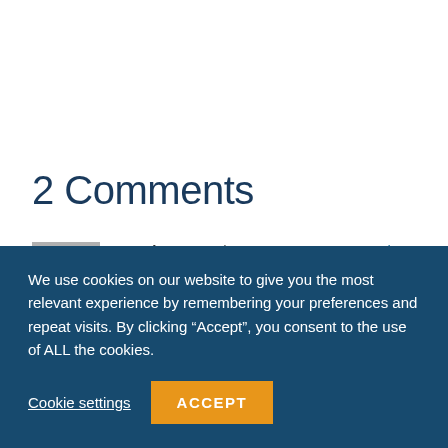2 Comments
Lorraine  17 July 2016 at 7:20 am - Reply
Great article Rebecca and we all thank you
We use cookies on our website to give you the most relevant experience by remembering your preferences and repeat visits. By clicking “Accept”, you consent to the use of ALL the cookies.
Cookie settings  ACCEPT